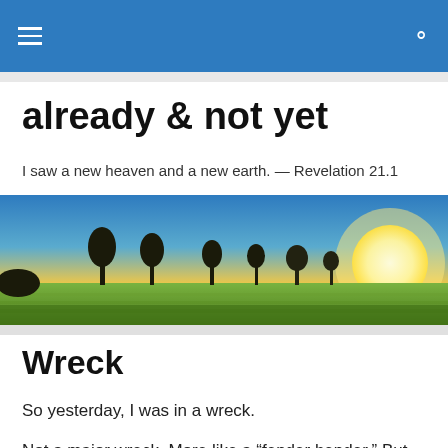already & not yet — navigation header
already & not yet
I saw a new heaven and a new earth. — Revelation 21.1
[Figure (photo): Sunset landscape photo showing silhouetted trees against a golden-yellow sky with a bright sun setting on the right side, and a green field in the foreground.]
Wreck
So yesterday, I was in a wreck.
Not a major wreck. More like a “fender bender.” But still. A wreck. My youngest son was with me, and he was really